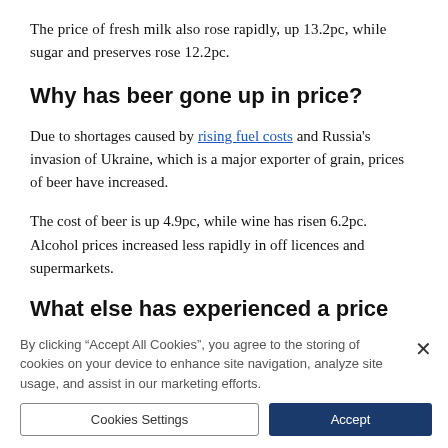The price of fresh milk also rose rapidly, up 13.2pc, while sugar and preserves rose 12.2pc.
Why has beer gone up in price?
Due to shortages caused by rising fuel costs and Russia's invasion of Ukraine, which is a major exporter of grain, prices of beer have increased.
The cost of beer is up 4.9pc, while wine has risen 6.2pc. Alcohol prices increased less rapidly in off licences and supermarkets.
What else has experienced a price rise?
By clicking “Accept All Cookies”, you agree to the storing of cookies on your device to enhance site navigation, analyze site usage, and assist in our marketing efforts.